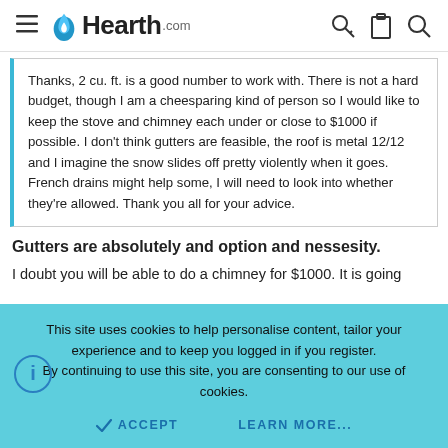Hearth.com
Thanks, 2 cu. ft. is a good number to work with. There is not a hard budget, though I am a cheesparing kind of person so I would like to keep the stove and chimney each under or close to $1000 if possible. I don't think gutters are feasible, the roof is metal 12/12 and I imagine the snow slides off pretty violently when it goes. French drains might help some, I will need to look into whether they're allowed. Thank you all for your advice.
Gutters are absolutely and option and nessesity.
I doubt you will be able to do a chimney for $1000. It is going
This site uses cookies to help personalise content, tailor your experience and to keep you logged in if you register.
By continuing to use this site, you are consenting to our use of cookies.